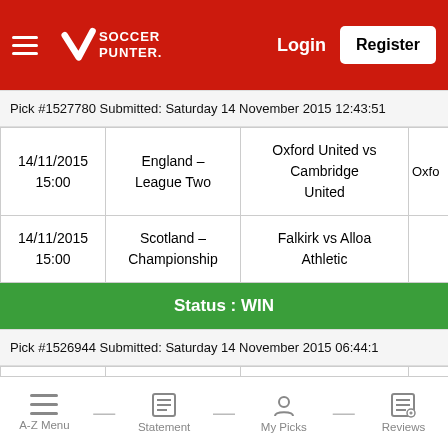Soccer Punter — Login | Register
Pick #1527780 Submitted: Saturday 14 November 2015 12:43:51
| Date/Time | League | Match | Pick |
| --- | --- | --- | --- |
| 14/11/2015 15:00 | England - League Two | Oxford United vs Cambridge United | Oxfo |
| 14/11/2015 15:00 | Scotland - Championship | Falkirk vs Alloa Athletic |  |
Status : WIN
Pick #1526944 Submitted: Saturday 14 November 2015 06:44:1
| Date/Time | League | Match | Pick |
| --- | --- | --- | --- |
| 14/11/2015 07:00 | Japan - J2-League | Omiya Ardija vs Oita Trinita | Om |
A-Z Menu — Statement — My Picks — Reviews